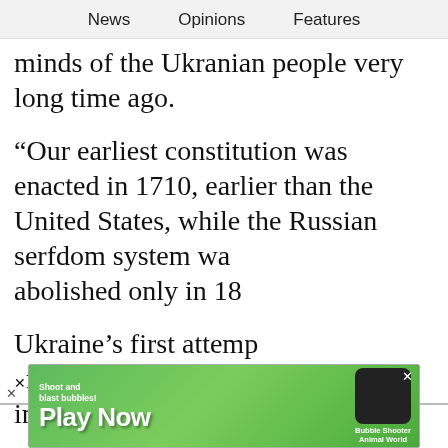News   Opinions   Features
minds of the Ukranian people very long time ago.
“Our earliest constitution was enacted in 1710, earlier than the United States, while the Russian serfdom system was abolished only in 18…
Ukraine’s first attempt… independence movement took place in
[Figure (screenshot): Black video player overlay partially obscuring article text, with a right-arrow navigation button]
[Figure (screenshot): Mobile advertisement banner: green background with 'Shoot and blast bubbles! Play Now' text and game imagery for 'Bubble Shooter Animal World']